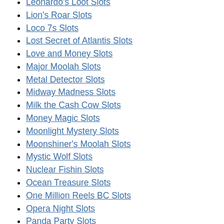Leonardo's Loot Slots
Lion's Roar Slots
Loco 7s Slots
Lost Secret of Atlantis Slots
Love and Money Slots
Major Moolah Slots
Metal Detector Slots
Midway Madness Slots
Milk the Cash Cow Slots
Money Magic Slots
Moonlight Mystery Slots
Moonshiner's Moolah Slots
Mystic Wolf Slots
Nuclear Fishin Slots
Ocean Treasure Slots
One Million Reels BC Slots
Opera Night Slots
Panda Party Slots
Pigskin Payout Slots
Pistols & Roses Slots
Psychedelic Sixties Slots
Pub Crawlers Slots
Red White and Bleu Slots
Reel Crime 1 Bank Heist Slots
Reel Crime 2 Art Heist Slots